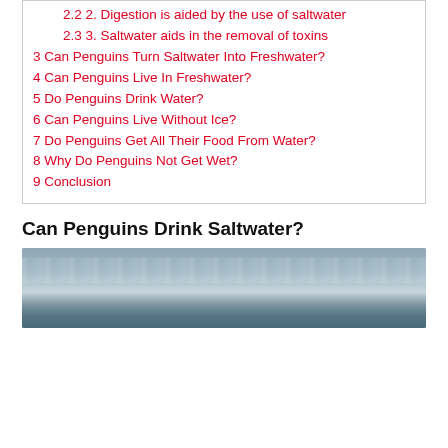2.2 2. Digestion is aided by the use of saltwater
2.3 3. Saltwater aids in the removal of toxins
3 Can Penguins Turn Saltwater Into Freshwater?
4 Can Penguins Live In Freshwater?
5 Do Penguins Drink Water?
6 Can Penguins Live Without Ice?
7 Do Penguins Get All Their Food From Water?
8 Why Do Penguins Not Get Wet?
9 Conclusion
Can Penguins Drink Saltwater?
[Figure (photo): Ocean or seawater scene with waves and water surface, muted blue-grey tones]